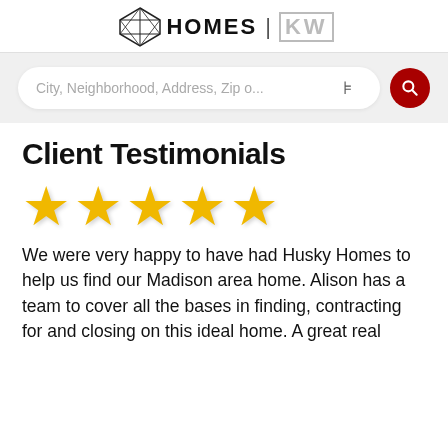[Figure (logo): Husky Homes KW real estate logo with geometric diamond shape and text HOMES | KW]
[Figure (screenshot): Search bar with placeholder text 'City, Neighborhood, Address, Zip o...' with filter icon and red search button]
Client Testimonials
[Figure (infographic): Five gold/yellow star rating icons]
We were very happy to have had Husky Homes to help us find our Madison area home. Alison has a team to cover all the bases in finding, contracting for and closing on this ideal home. A great real